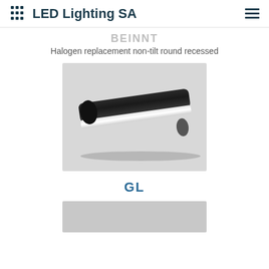LED Lighting SA
BEINNT
Halogen replacement non-tilt round recessed
[Figure (photo): LED light fitting product photo - an elongated cylindrical LED batten/strip light with a black housing and white/frosted diffuser, shown on a light grey background]
GL
[Figure (photo): Partial view of another LED lighting product on a grey background, shown at the bottom of the page]